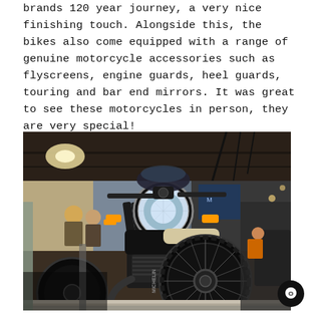brands 120 year journey, a very nice finishing touch. Alongside this, the bikes also come equipped with a range of genuine motorcycle accessories such as flyscreens, engine guards, heel guards, touring and bar end mirrors. It was great to see these motorcycles in person, they are very special!
[Figure (photo): Close-up front view of a dark/black classic-style motorcycle displayed on a stand at an indoor exhibition hall. The motorcycle features a round chrome headlight, orange turn signals, spoke wheels, and visible engine. People and exhibition booths are visible in the background.]